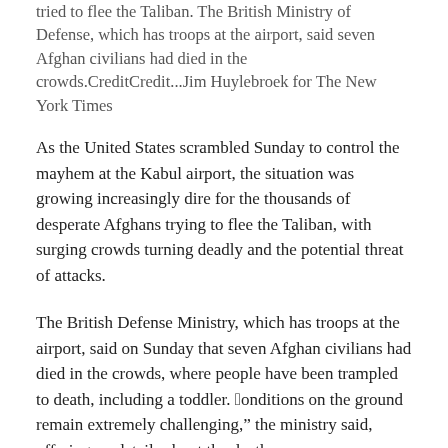tried to flee the Taliban. The British Ministry of Defense, which has troops at the airport, said seven Afghan civilians had died in the crowds.CreditCredit...Jim Huylebroek for The New York Times
As the United States scrambled Sunday to control the mayhem at the Kabul airport, the situation was growing increasingly dire for the thousands of desperate Afghans trying to flee the Taliban, with surging crowds turning deadly and the potential threat of attacks.
The British Defense Ministry, which has troops at the airport, said on Sunday that seven Afghan civilians had died in the crowds, where people have been trampled to death, including a toddler. “Conditions on the ground remain extremely challenging,” the ministry said, offering no details about the deaths.
The day before, the United States and Germany warned